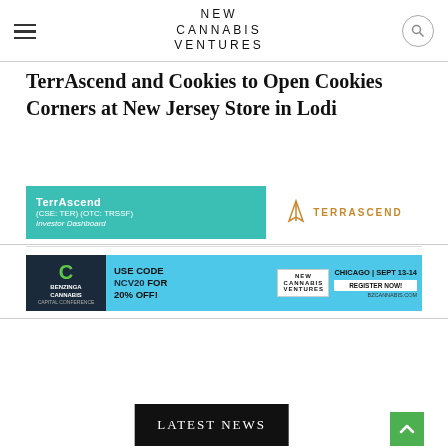NEW CANNABIS VENTURES
TerrAscend and Cookies to Open Cookies Corners at New Jersey Store in Lodi
[Figure (advertisement): TerrAscend investor dashboard ad banner with teal background and company logo on right]
[Figure (advertisement): Benzinga Cannabis Capital Conference ad: USE CODE NCV20 FOR 20% OFF! Chicago Sept 13-14 Register Now at bzcannabis.com]
[Figure (other): LATEST NEWS button/banner in black with white text]